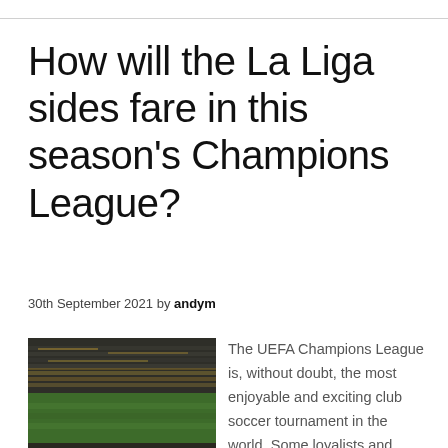How will the La Liga sides fare in this season's Champions League?
30th September 2021 by andym
[Figure (photo): Stadium crowd photo showing fans in a large soccer stadium with green pitch visible]
The UEFA Champions League is, without doubt, the most enjoyable and exciting club soccer tournament in the world. Some loyalists and hipsters might claim the Copa America is